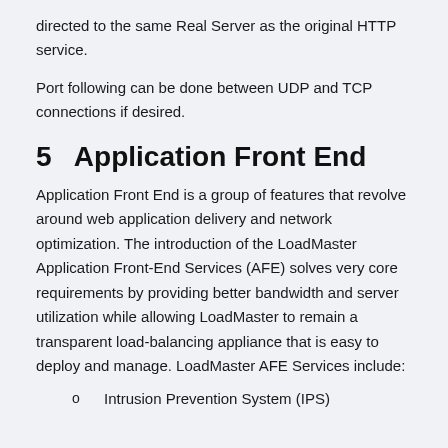directed to the same Real Server as the original HTTP service.
Port following can be done between UDP and TCP connections if desired.
5   Application Front End
Application Front End is a group of features that revolve around web application delivery and network optimization. The introduction of the LoadMaster Application Front-End Services (AFE) solves very core requirements by providing better bandwidth and server utilization while allowing LoadMaster to remain a transparent load-balancing appliance that is easy to deploy and manage. LoadMaster AFE Services include:
Intrusion Prevention System (IPS)